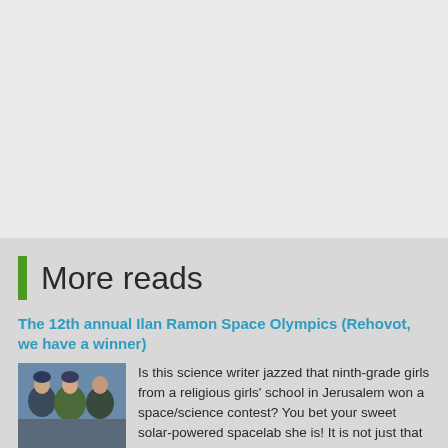[Figure (photo): Gray empty top section of a webpage]
More reads
The 12th annual Ilan Ramon Space Olympics (Rehovot, we have a winner)
[Figure (photo): Photo of three people, appears to be students or young people, taken outdoors in winter clothing]
Is this science writer jazzed that ninth-grade girls from a religious girls' school in Jerusalem won a space/science contest? You bet your sweet solar-powered spacelab she is! It is not just that these girls beat out a lot of other classes (over 400), or that they break more than one stereotype. They also came up